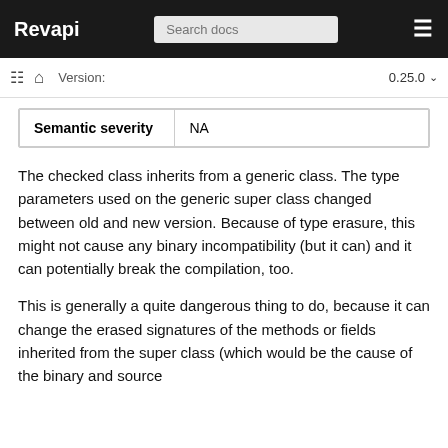Revapi
| Semantic severity | NA |
The checked class inherits from a generic class. The type parameters used on the generic super class changed between old and new version. Because of type erasure, this might not cause any binary incompatibility (but it can) and it can potentially break the compilation, too.
This is generally a quite dangerous thing to do, because it can change the erased signatures of the methods or fields inherited from the super class (which would be the cause of the binary and source